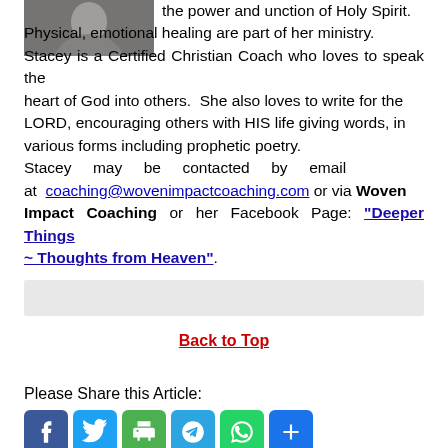[Figure (photo): Black and white photo of a person (partially visible at top left)]
the power and unction of Holy Spirit. Physical, emotional healing are part of her ministry. Stacey is a Certified Christian Coach who loves to speak the heart of God into others. She also loves to write for the LORD, encouraging others with HIS life giving words, in various forms including prophetic poetry. Stacey may be contacted by email at coaching@wovenimpactcoaching.com or via Woven Impact Coaching or her Facebook Page: "Deeper Things ~ Thoughts from Heaven".
Back to Top
Please Share this Article:
[Figure (infographic): Social media share icons: Facebook, Twitter, Print, Telegram, WhatsApp, Share]